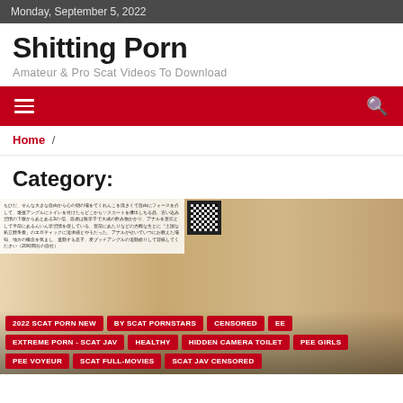Monday, September 5, 2022
Shitting Porn
Amateur & Pro Scat Videos To Download
Navigation bar with hamburger menu and search icon
Home / ????????
Category: ????????
[Figure (screenshot): Thumbnail image with category tag buttons overlaid: 2022 SCAT PORN NEW, BY SCAT PORNSTARS, CENSORED, EE, EXTREME PORN - SCAT JAV, HEALTHY, HIDDEN CAMERA TOILET, PEE GIRLS, PEE VOYEUR, SCAT FULL-MOVIES, SCAT JAV CENSORED]